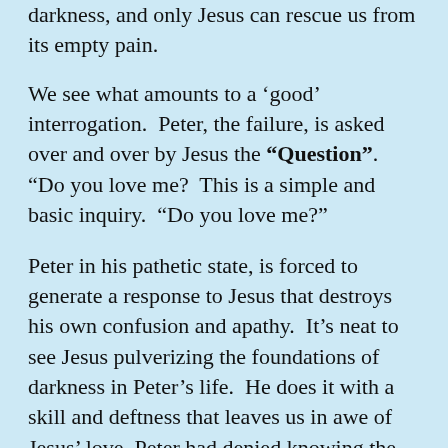darkness, and only Jesus can rescue us from its empty pain.
We see what amounts to a ‘good’ interrogation.  Peter, the failure, is asked over and over by Jesus the “Question”.  “Do you love me?  This is a simple and basic inquiry.  “Do you love me?”
Peter in his pathetic state, is forced to generate a response to Jesus that destroys his own confusion and apathy.  It’s neat to see Jesus pulverizing the foundations of darkness in Peter’s life.  He does it with a skill and deftness that leaves us in awe of Jesus’ love. Peter had denied knowing the Lord three times. It is fitting that Jesus would ask His question three